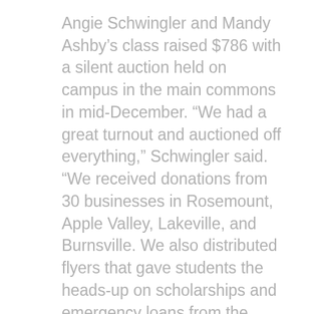Angie Schwingler and Mandy Ashby’s class raised $786 with a silent auction held on campus in the main commons in mid-December. “We had a great turnout and auctioned off everything,” Schwingler said. “We received donations from 30 businesses in Rosemount, Apple Valley, Lakeville, and Burnsville. We also distributed flyers that gave students the heads-up on scholarships and emergency loans from the Foundation.”